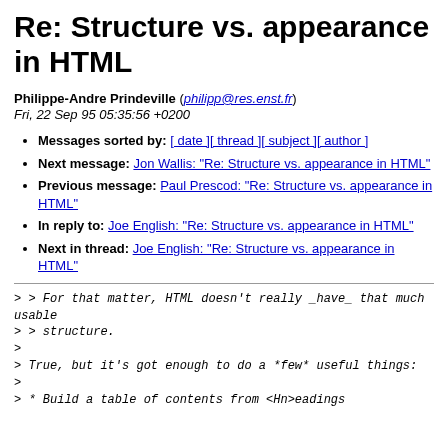Re: Structure vs. appearance in HTML
Philippe-Andre Prindeville (philipp@res.enst.fr)
Fri, 22 Sep 95 05:35:56 +0200
Messages sorted by: [ date ][ thread ][ subject ][ author ]
Next message: Jon Wallis: "Re: Structure vs. appearance in HTML"
Previous message: Paul Prescod: "Re: Structure vs. appearance in HTML"
In reply to: Joe English: "Re: Structure vs. appearance in HTML"
Next in thread: Joe English: "Re: Structure vs. appearance in HTML"
> > For that matter, HTML doesn't really _have_ that much usable
> > structure.
>
> True, but it's got enough to do a *few* useful things:
>
> * Build a table of contents from <Hn>eadings